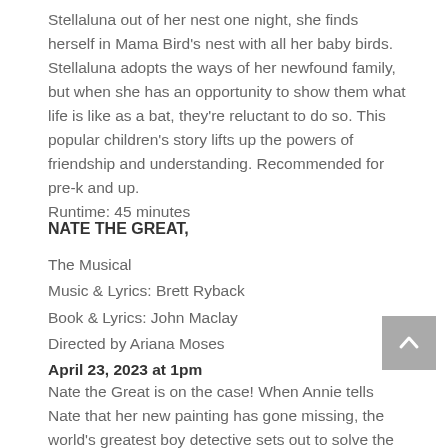Stellaluna out of her nest one night, she finds herself in Mama Bird's nest with all her baby birds. Stellaluna adopts the ways of her newfound family, but when she has an opportunity to show them what life is like as a bat, they're reluctant to do so. This popular children's story lifts up the powers of friendship and understanding. Recommended for pre-k and up. Runtime: 45 minutes
NATE THE GREAT,
The Musical
Music & Lyrics: Brett Ryback
Book & Lyrics: John Maclay
Directed by Ariana Moses
April 23, 2023 at 1pm
Nate the Great is on the case! When Annie tells Nate that her new painting has gone missing, the world's greatest boy detective sets out to solve the mystery. He tracks